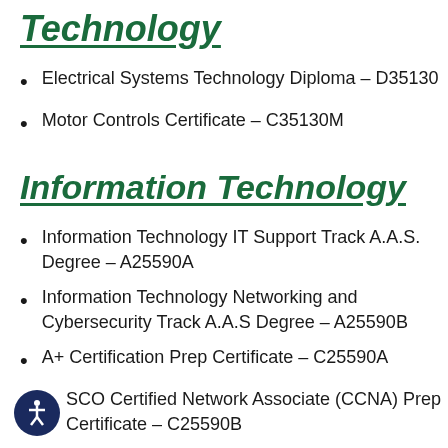Technology
Electrical Systems Technology Diploma – D35130
Motor Controls Certificate – C35130M
Information Technology
Information Technology IT Support Track A.A.S. Degree – A25590A
Information Technology Networking and Cybersecurity Track A.A.S Degree – A25590B
A+ Certification Prep Certificate – C25590A
CISCO Certified Network Associate (CCNA) Prep Certificate – C25590B